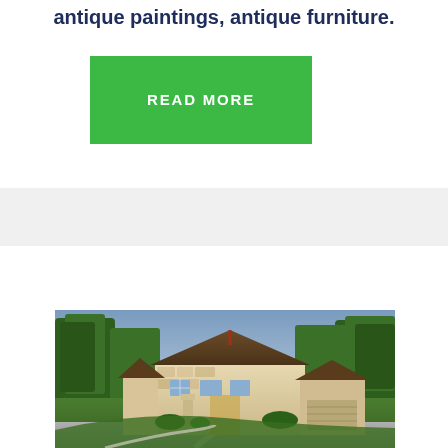antique paintings, antique furniture.
READ MORE
[Figure (photo): Exterior photo of a large stone and brick luxury home with tall trees in the background, a curved driveway, well-manicured green lawn, and a two-car garage, photographed at dusk with a blue-purple sky.]